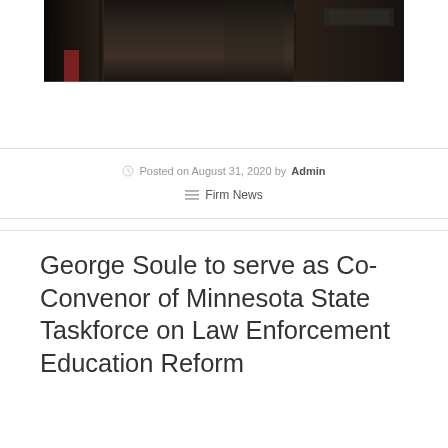[Figure (photo): Dark interior photo showing what appears to be a courtroom or office setting with dark wood furniture and a monitor visible]
Posted on August 31, 2020 by Admin
Firm News
George Soule to serve as Co-Convenor of Minnesota State Taskforce on Law Enforcement Education Reform